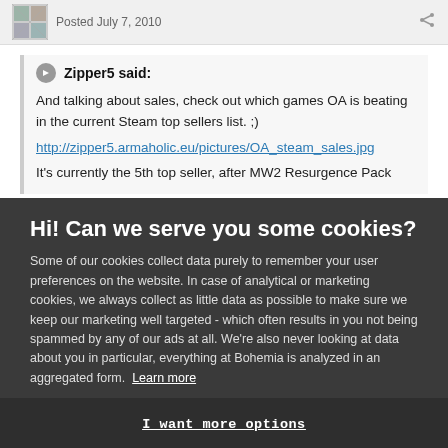Posted July 7, 2010
Zipper5 said:
And talking about sales, check out which games OA is beating in the current Steam top sellers list. ;)
http://zipper5.armaholic.eu/pictures/OA_steam_sales.jpg
It's currently the 5th top seller, after MW2 Resurgence Pack
Hi! Can we serve you some cookies?
Some of our cookies collect data purely to remember your user preferences on the website. In case of analytical or marketing cookies, we always collect as little data as possible to make sure we keep our marketing well targeted - which often results in you not being spammed by any of our ads at all. We're also never looking at data about you in particular, everything at Bohemia is analyzed in an aggregated form. Learn more
Allow all cookies
I want more options